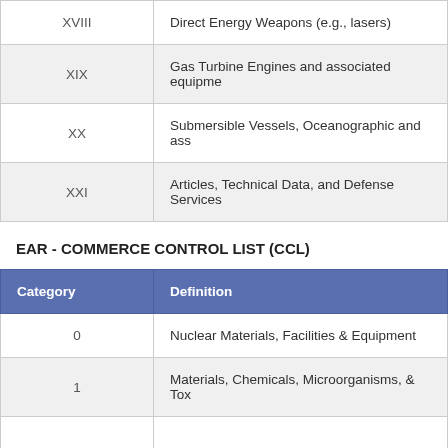| Category | Definition |
| --- | --- |
| XVIII | Direct Energy Weapons (e.g., lasers) |
| XIX | Gas Turbine Engines and associated equipme... |
| XX | Submersible Vessels, Oceanographic and ass... |
| XXI | Articles, Technical Data, and Defense Services |
EAR - COMMERCE CONTROL LIST (CCL)
| Category | Definition |
| --- | --- |
| 0 | Nuclear Materials, Facilities & Equipment |
| 1 | Materials, Chemicals, Microorganisms, & Tox... |
|  |  |